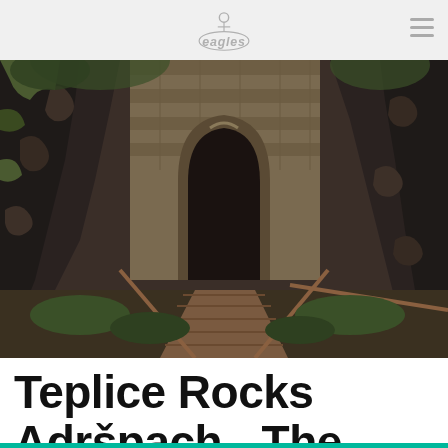Eagles logo
[Figure (photo): A gothic stone archway entrance set between large dark rock formations, with a wooden walkway and railing leading into darkness, surrounded by green foliage. The scene resembles a fantasy video game environment.]
Teplice Rocks Adršpach - The Real Life Skyrim